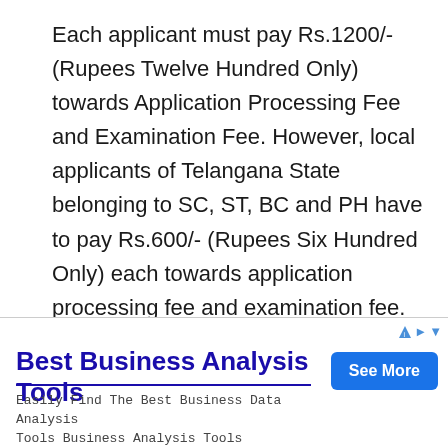Each applicant must pay Rs.1200/- (Rupees Twelve Hundred Only) towards Application Processing Fee and Examination Fee. However, local applicants of Telangana State belonging to SC, ST, BC and PH have to pay Rs.600/- (Rupees Six Hundred Only) each towards application processing fee and examination fee. BCs, SCs and STs belonging to other States are not entitled
[Figure (other): Advertisement banner: 'Best Business Analysis Tools' with 'See More' button and body text 'Easily Find The Best Business Data Analysis Tools Business Analysis Tools']